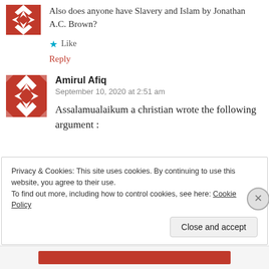[Figure (illustration): Red and white geometric pattern avatar icon (top, partially cropped)]
Also does anyone have Slavery and Islam by Jonathan A.C. Brown?
Like
Reply
[Figure (illustration): Red and white geometric pattern avatar icon for Amirul Afiq]
Amirul Afiq
September 10, 2020 at 2:51 am
Assalamualaikum a christian wrote the following argument :
Privacy & Cookies: This site uses cookies. By continuing to use this website, you agree to their use.
To find out more, including how to control cookies, see here: Cookie Policy
Close and accept